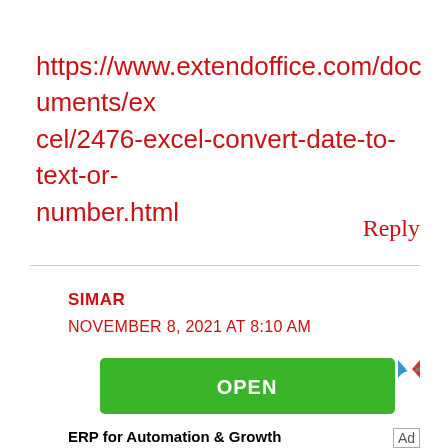https://www.extendoffice.com/documents/excel/2476-excel-convert-date-to-text-or-number.html
Reply
SIMAR
NOVEMBER 8, 2021 AT 8:10 AM
[Figure (other): Green OPEN button advertisement with ERP for Automation & Growth text and Ad label]
ERP for Automation & Growth
Ad